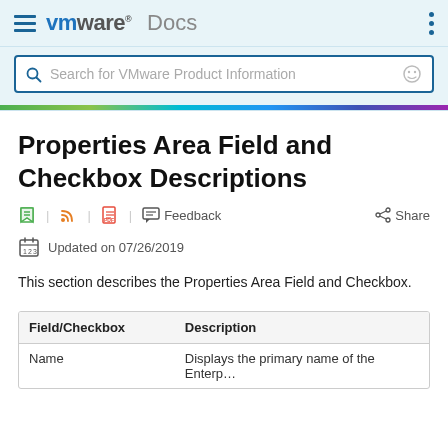VMware Docs
Properties Area Field and Checkbox Descriptions
Updated on 07/26/2019
This section describes the Properties Area Field and Checkbox.
| Field/Checkbox | Description |
| --- | --- |
| Name | Displays the primary name of the Enterp... |